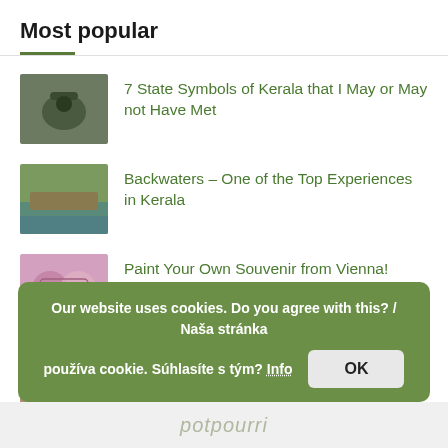Most popular
7 State Symbols of Kerala that I May or May not Have Met
Backwaters – One of the Top Experiences in Kerala
Paint Your Own Souvenir from Vienna!
Brussels – 8 Art Nouveau Buildings that Are Open to the Public
Our website uses cookies. Do you agree with this? / Naša stránka používa cookie. Súhlasíte s tým? Info OK
potpourri